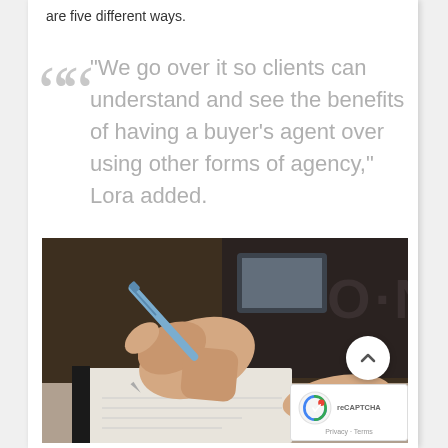are five different ways.
“We go over it so clients can understand and see the benefits of having a buyer’s agent over using other forms of agency,” Lora added.
[Figure (photo): A person's hand holding a blue pen writing in a notebook, photographed close-up. A dark t-shirt with partial text 'O N' is visible in the background.]